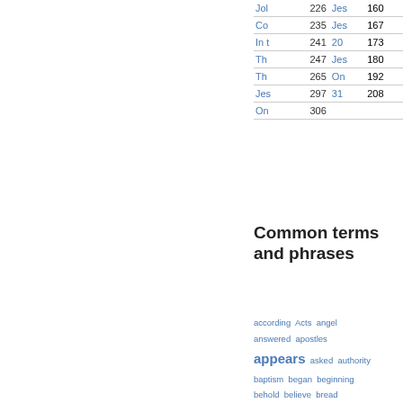| Title | Page | Title | Page |
| --- | --- | --- | --- |
| Jol | 226 | Jes | 160 |
| Co | 235 | Jes | 167 |
| In t | 241 | 20 | 173 |
| Th | 247 | Jes | 180 |
| Th | 265 | On | 192 |
| Jes | 297 | 31 | 208 |
| On | 306 |  |  |
Common terms and phrases
according Acts angel answered apostles appears asked authority baptism began beginning behold believe bread brought called cast Christ concerning cured